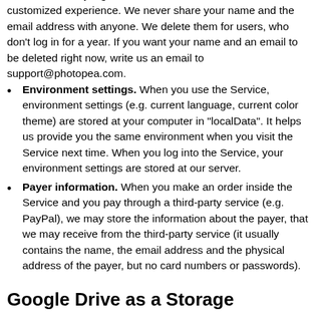users, when they log in next time, in order to offer a customized experience. We never share your name and the email address with anyone. We delete them for users, who don't log in for a year. If you want your name and an email to be deleted right now, write us an email to support@photopea.com.
Environment settings. When you use the Service, environment settings (e.g. current language, current color theme) are stored at your computer in "localData". It helps us provide you the same environment when you visit the Service next time. When you log into the Service, your environment settings are stored at our server.
Payer information. When you make an order inside the Service and you pay through a third-party service (e.g. PayPal), we may store the information about the payer, that we may receive from the third-party service (it usually contains the name, the email address and the physical address of the payer, but no card numbers or passwords).
Google Drive as a Storage
You can give the Service permissions ot access your Google Drive (the "GD"). The Service needs it to allow you to browse